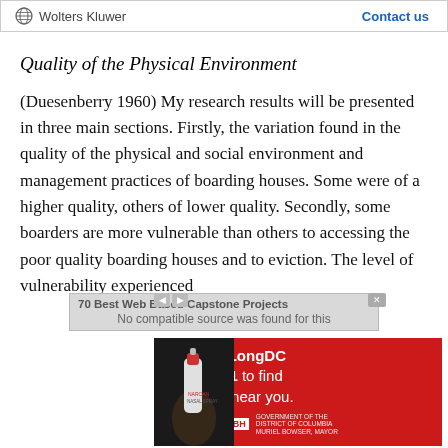Wolters Kluwer | Contact us
Quality of the Physical Environment
(Duesenberry 1960) My research results will be presented in three main sections. Firstly, the variation found in the quality of the physical and social environment and management practices of boarding houses. Some were of a higher quality, others of lower quality. Secondly, some boarders are more vulnerable than others to accessing the poor quality boarding houses and to eviction. The level of vulnerability experienced
[Figure (other): Advertisement overlay: video player banner reading '70 Best Web Based Capstone Projects' with 'No compatible source was found for this' message, and a red public health advertisement for LiveLongDC reading 'Text LiveLongDC to 888-811 to find naloxone near you.' with DC government branding including Live Long DC, DBH logos and Muriel Bowser Mayor credit, plus a hand holding a nasal spray device.]